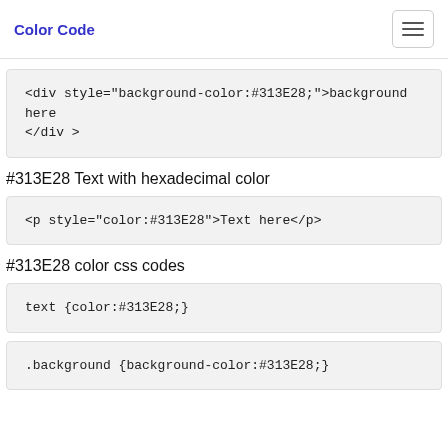Color Code
<div style="background-color:#313E28;">background here
</div >
#313E28 Text with hexadecimal color
<p style="color:#313E28">Text here</p>
#313E28 color css codes
text {color:#313E28;}
.background {background-color:#313E28;}